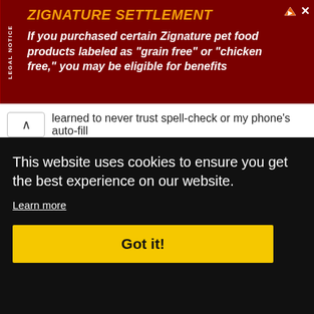[Figure (screenshot): Advertisement banner for ZIGNATURE SETTLEMENT - dark red background. Text: 'ZIGNATURE SETTLEMENT' in yellow-orange italic bold, then white italic bold text: 'If you purchased certain Zignature pet food products labeled as "grain free" or "chicken free," you may be eligible for benefits'. LEGAL NOTICE label on left side vertically.]
learned to never trust spell-check or my phone's auto-fill
Edited 1 time(s). Last edit at 01/11/2022 02:26PM by BirdyC.
Reply
Like This
This website uses cookies to ensure you get the best experience on our website.
Learn more
Got it!